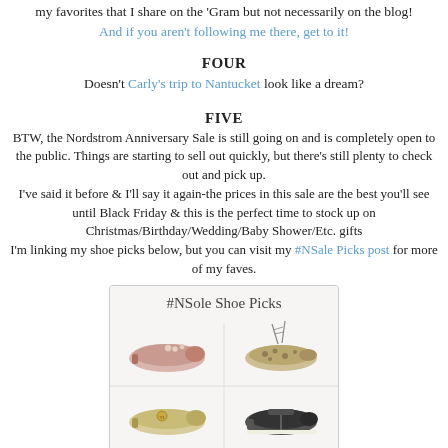my favorites that I share on the 'Gram but not necessarily on the blog!
And if you aren't following me there, get to it!
FOUR
Doesn't Carly's trip to Nantucket look like a dream?
FIVE
BTW, the Nordstrom Anniversary Sale is still going on and is completely open to the public. Things are starting to sell out quickly, but there's still plenty to check out and pick up. I've said it before & I'll say it again-the prices in this sale are the best you'll see until Black Friday & this is the perfect time to stock up on Christmas/Birthday/Wedding/Baby Shower/Etc. gifts I'm linking my shoe picks below, but you can visit my #NSale Picks post for more of my faves.
[Figure (photo): Image of shoe picks from Nordstrom Anniversary Sale labeled #NSole Shoe Picks, showing four pairs of shoes in a grid: decorative flat mule (top left), leopard print lace-up flat (top right), gold/metallic flat (bottom left), dark slip-on loafer (bottom right).]